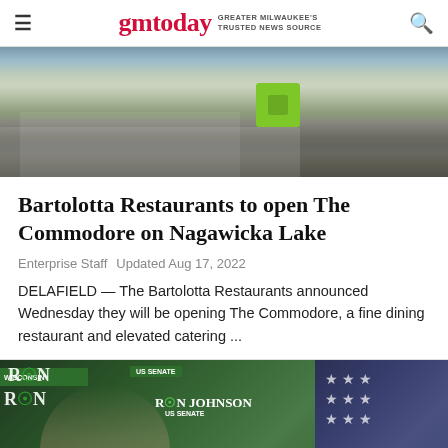gmtoday — GREATER MILWAUKEE'S TRUSTED NEWS SOURCE
[Figure (photo): Exterior photo of a building with driveway, shrubs, and a green box/kiosk visible]
Bartolotta Restaurants to open The Commodore on Nagawicka Lake
Enterprise Staff   Updated Aug 17, 2022
DELAFIELD — The Bartolotta Restaurants announced Wednesday they will be opening The Commodore, a fine dining restaurant and elevated catering ...
[Figure (photo): Two men at a Ron Johnson US Senate campaign event with green campaign signs in background]
[Figure (photo): Advertisement: Family feel with heartfelt care — Hartland senior living facility ad with photo of caregiver and elderly woman]